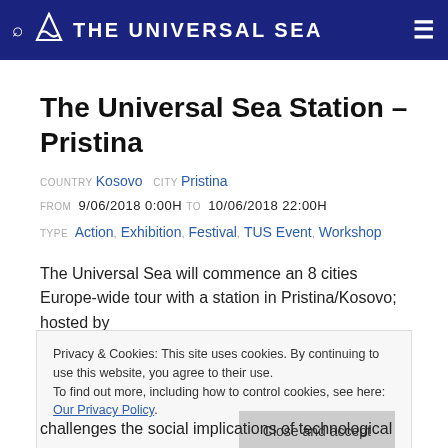THE UNIVERSAL SEA
The Universal Sea Station – Pristina
COUNTRY Kosovo CITY Pristina
FROM 9/06/2018 0:00h TO 10/06/2018 22:00h
TYPE Action, Exhibition, Festival, TUS Event, Workshop
The Universal Sea will commence an 8 cities Europe-wide tour with a station in Pristina/Kosovo; hosted by
Privacy & Cookies: This site uses cookies. By continuing to use this website, you agree to their use. To find out more, including how to control cookies, see here: Our Privacy Policy
challenges the social implications of technological